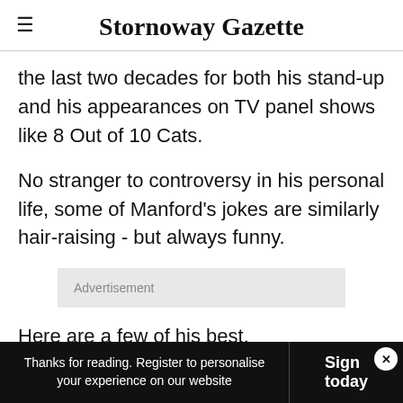Stornoway Gazette
the last two decades for both his stand-up and his appearances on TV panel shows like 8 Out of 10 Cats.
No stranger to controversy in his personal life, some of Manford's jokes are similarly hair-raising - but always funny.
Advertisement
Here are a few of his best.
Thanks for reading. Register to personalise your experience on our website  Sign today